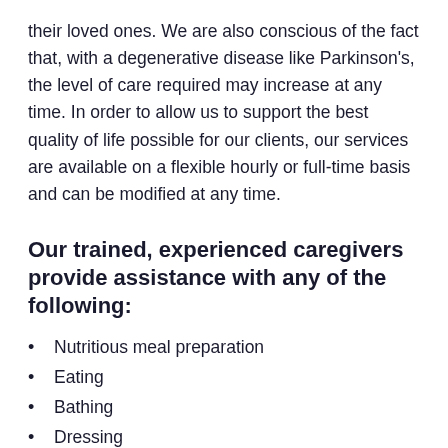their loved ones. We are also conscious of the fact that, with a degenerative disease like Parkinson's, the level of care required may increase at any time. In order to allow us to support the best quality of life possible for our clients, our services are available on a flexible hourly or full-time basis and can be modified at any time.
Our trained, experienced caregivers provide assistance with any of the following:
Nutritious meal preparation
Eating
Bathing
Dressing